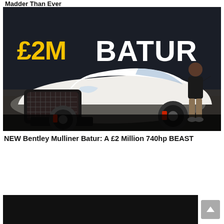Madder Than Ever
[Figure (photo): YouTube thumbnail showing a white Bentley Mulliner Batur supercar with large text '£2M BATUR' overlaid (£2M in yellow, BATUR in white) on a dark background, with a man in black shirt and khaki pants standing to the right gesturing at the car.]
NEW Bentley Mulliner Batur: A £2 Million 740hp BEAST
[Figure (photo): Partial thumbnail of another video showing a dark background, partially visible at the bottom of the page.]